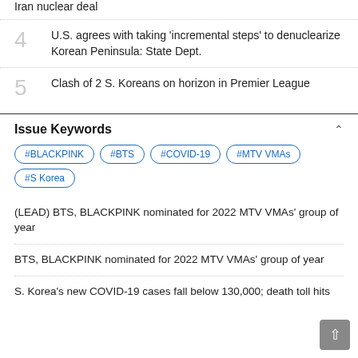Iran nuclear deal
4 U.S. agrees with taking 'incremental steps' to denuclearize Korean Peninsula: State Dept.
5 Clash of 2 S. Koreans on horizon in Premier League
Issue Keywords
#BLACKPINK
#BTS
#COVID-19
#MTV VMAs
#S Korea
(LEAD) BTS, BLACKPINK nominated for 2022 MTV VMAs' group of year
BTS, BLACKPINK nominated for 2022 MTV VMAs' group of year
S. Korea's new COVID-19 cases fall below 130,000; death toll hits